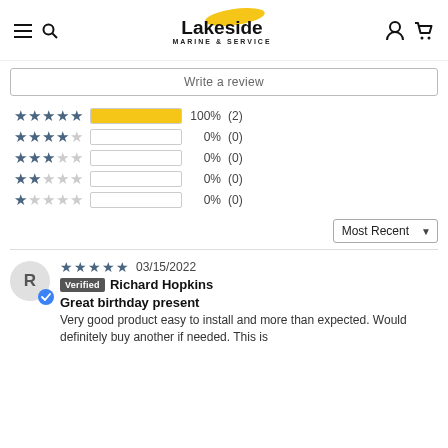Lakeside Marine & Service
Write a review
[Figure (infographic): Star rating breakdown: 5 stars 100% (2), 4 stars 0% (0), 3 stars 0% (0), 2 stars 0% (0), 1 star 0% (0)]
Most Recent
R  03/15/2022  Verified  Richard Hopkins
Great birthday present
Very good product easy to install and more than expected. Would definitely buy another if needed. This is